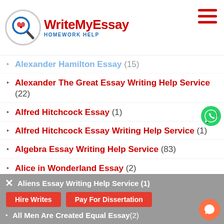WriteMyEssay Homework Help
Alexander Hamilton Essay (15)
Alexander The Great Essay Writing Help Service (22)
Alfred Hitchcock Essay (1)
Alfred Hitchcock Essay Writing Help Service (1)
Algebra Essay Writing Help Service (83)
Alice in Wonderland Essay (2)
Alice in Wonderland Essay Writing Help Service (5)
Alice Walker Essay (7)
Aliens Essay Writing Help Service (1)
All Men Are Created Equal Essay (2)